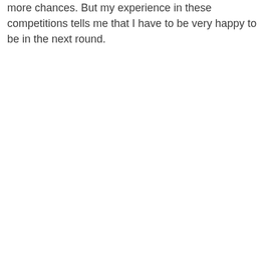more chances. But my experience in these competitions tells me that I have to be very happy to be in the next round.